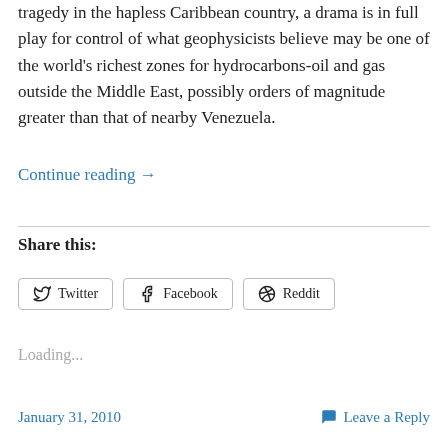tragedy in the hapless Caribbean country, a drama is in full play for control of what geophysicists believe may be one of the world’s richest zones for hydrocarbons-oil and gas outside the Middle East, possibly orders of magnitude greater than that of nearby Venezuela.
Continue reading →
Share this:
Loading...
January 31, 2010
Leave a Reply